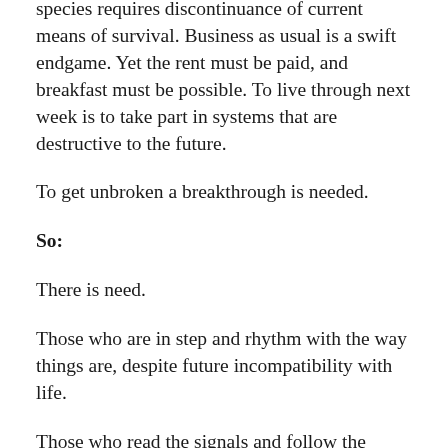species requires discontinuance of current means of survival. Business as usual is a swift endgame. Yet the rent must be paid, and breakfast must be possible. To live through next week is to take part in systems that are destructive to the future.
To get unbroken a breakthrough is needed.
So:
There is need.
Those who are in step and rhythm with the way things are, despite future incompatibility with life.
Those who read the signals and follow the signposts in the map of today.
Those who have fitted infinite capacity for contextual